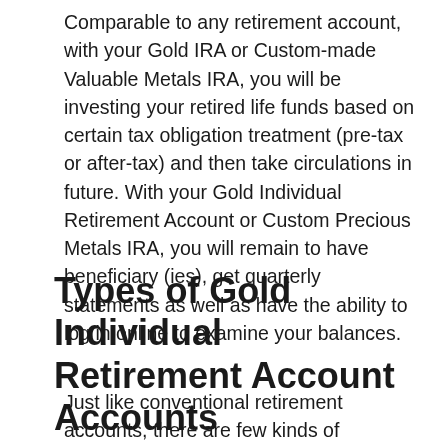Comparable to any retirement account, with your Gold IRA or Custom-made Valuable Metals IRA, you will be investing your retired life funds based on certain tax obligation treatment (pre-tax or after-tax) and then take circulations in future. With your Gold Individual Retirement Account or Custom Precious Metals IRA, you will remain to have beneficiary (ies), get quarterly statements as well as have the ability to log in online to examine your balances.
Types of Gold Individual Retirement Account Accounts
Just like conventional retirement accounts, there are few kinds of accounts that each